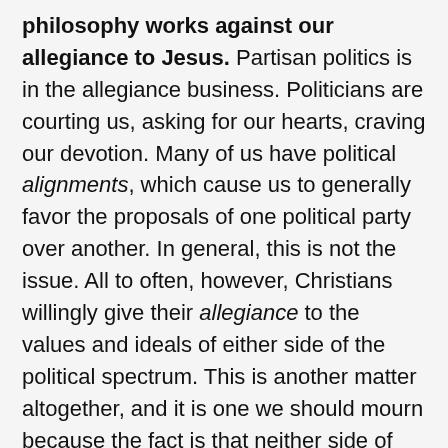philosophy works against our allegiance to Jesus. Partisan politics is in the allegiance business. Politicians are courting us, asking for our hearts, craving our devotion. Many of us have political alignments, which cause us to generally favor the proposals of one political party over another. In general, this is not the issue. All to often, however, Christians willingly give their allegiance to the values and ideals of either side of the political spectrum. This is another matter altogether, and it is one we should mourn because the fact is that neither side of the political spectrum has a corner on the values and ideals of the Kingdom of God. ___________ Once we have given our allegiance to a particular political persuasion, however, we will see the world the way they want us to. We will be unable to see things from the perspective of the Kingdom because our lenses are tinted with shades of blue or red (depending on which party is in